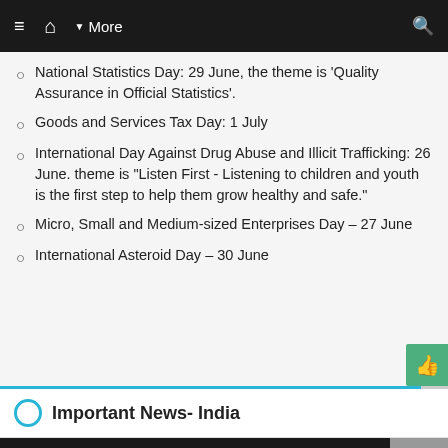≡ 🏠 ▾ More 🔍
National Statistics Day: 29 June, the theme is 'Quality Assurance in Official Statistics'.
Goods and Services Tax Day: 1 July
International Day Against Drug Abuse and Illicit Trafficking: 26 June. theme is "Listen First - Listening to children and youth is the first step to help them grow healthy and safe."
Micro, Small and Medium-sized Enterprises Day – 27 June
International Asteroid Day – 30 June
Important News- India
Install App   [Android] [Apple]   ✕